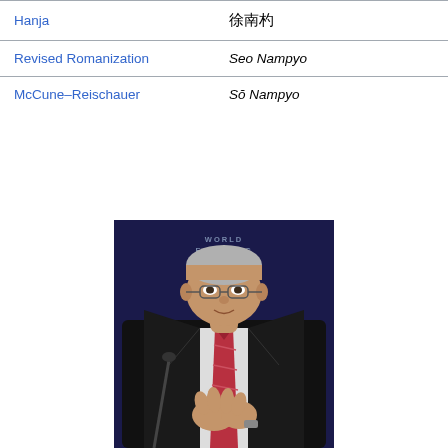| Label | Value |
| --- | --- |
| Hanja | 徐南杓 |
| Revised Romanization | Seo Nampyo |
| McCune–Reischauer | Sŏ Nampyo |
[Figure (photo): Man in a dark suit with a red tie sitting at a panel at the World Economic Forum, gesturing with his hands. The WEF logo is visible in the background.]